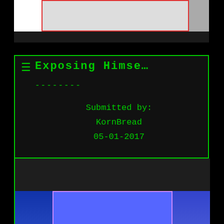[Figure (screenshot): Top card with gray image area and red border highlight, dark bar below]
[Figure (screenshot): Main content card with green border, hamburger menu icon, title 'Exposing Himse...', divider dashes, submission info by KornBread dated 05-01-2017, status 'accepted', score -4 in red]
[Figure (screenshot): Bottom card with dark gray header area and blue image below showing 'CAPTURED' text with purple highlight border]